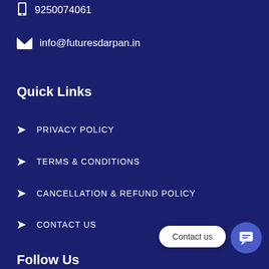9250074061
info@futuresdarpan.in
Quick Links
PRIVACY POLICY
TERMS & CONDITIONS
CANCELLATION & REFUND POLICY
CONTACT US
Contact us
Follow Us